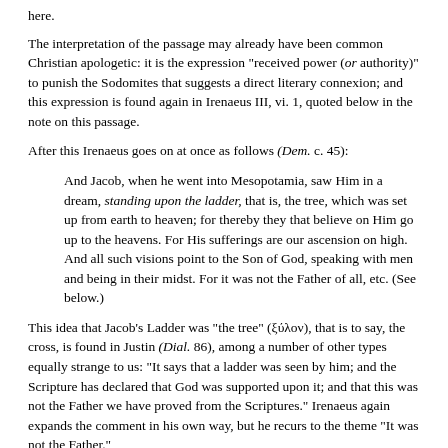here.
The interpretation of the passage may already have been common Christian apologetic: it is the expression "received power (or authority)" to punish the Sodomites that suggests a direct literary connexion; and this expression is found again in Irenaeus III, vi. 1, quoted below in the note on this passage.
After this Irenaeus goes on at once as follows (Dem. c. 45):
And Jacob, when he went into Mesopotamia, saw Him in a dream, standing upon the ladder, that is, the tree, which was set up from earth to heaven; for thereby they that believe on Him go up to the heavens. For His sufferings are our ascension on high. And all such visions point to the Son of God, speaking with men and being in their midst. For it was not the Father of all, etc. (See below.)
This idea that Jacob's Ladder was "the tree" (ξύλον), that is to say, the cross, is found in Justin (Dial. 86), among a number of other types equally strange to us: "It says that a ladder was seen by him; and the Scripture has declared that God was supported upon it; and that this was not the Father we have proved from the Scriptures." Irenaeus again expands the comment in his own way, but he recurs to the theme "It was not the Father."